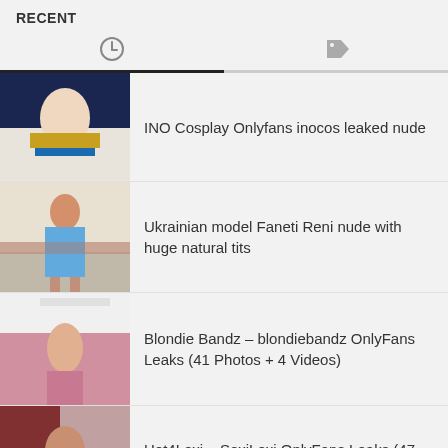RECENT
[Figure (screenshot): Tab bar with clock icon (active, left) and tag icon (right), active tab underlined in dark]
INO Cosplay Onlyfans inocos leaked nude
Ukrainian model Faneti Reni nude with huge natural tits
Blondie Bandz – blondiebandz OnlyFans Leaks (41 Photos + 4 Videos)
Hot4Lexi – SexiLexi OnlyFans Leaks (47 Photos + 3 Videos)